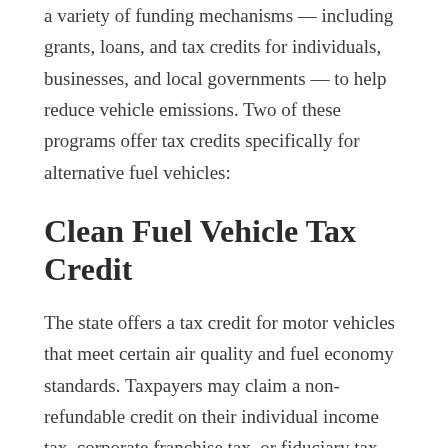a variety of funding mechanisms — including grants, loans, and tax credits for individuals, businesses, and local governments — to help reduce vehicle emissions. Two of these programs offer tax credits specifically for alternative fuel vehicles:
Clean Fuel Vehicle Tax Credit
The state offers a tax credit for motor vehicles that meet certain air quality and fuel economy standards. Taxpayers may claim a non-refundable credit on their individual income tax, corporate franchise tax, or fiduciary tax returns for the purchase or conversion of vehicles that use cleaner burning fuels.